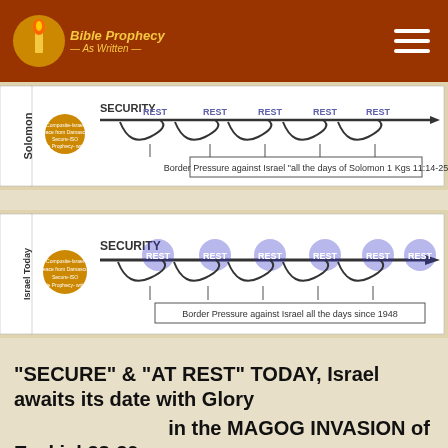Bible Prophecy As Written
[Figure (infographic): Diagram showing 'SECURITY' timeline for Solomon with border pressure arrows and REST labels, with text: Border Pressure against Israel all the days of Solomon 1 Kgs 11:14-25]
[Figure (infographic): Diagram showing 'SECURITY' timeline for Israel Today with REST labels glowing blue and arrow pointing right, with text: Border Pressure against Israel all the days since 1948]
“SECURE” & “AT REST” TODAY, Israel awaits its date with Glory
in the MAGOG INVASION of Ezekiel 38-39